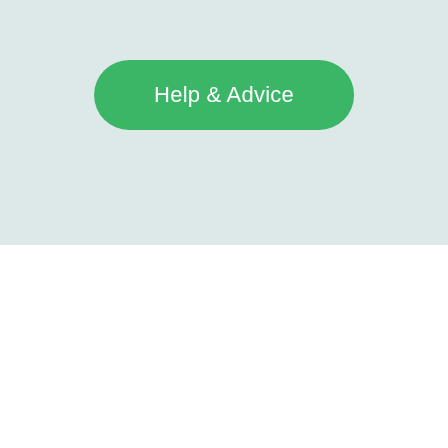[Figure (other): Green rounded button with white text reading 'Help & Advice' on a light blue-grey background]
Our Company.
Skip Hire